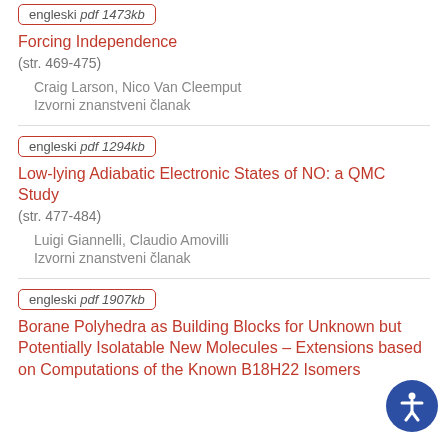engleski pdf 1473kb
Forcing Independence
(str. 469-475)
Craig Larson, Nico Van Cleemput
Izvorni znanstveni članak
engleski pdf 1294kb
Low-lying Adiabatic Electronic States of NO: a QMC Study
(str. 477-484)
Luigi Giannelli, Claudio Amovilli
Izvorni znanstveni članak
engleski pdf 1907kb
Borane Polyhedra as Building Blocks for Unknown but Potentially Isolatable New Molecules – Extensions based on Computations of the Known B18H22 Isomers